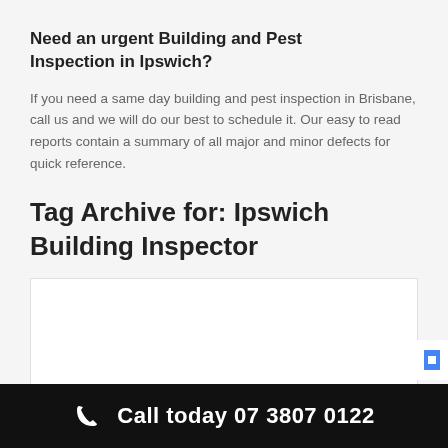Need an urgent Building and Pest Inspection in Ipswich?
If you need a same day building and pest inspection in Brisbane, call us and we will do our best to schedule it.  Our easy to read reports contain a summary of all major and minor defects for quick reference.
Tag Archive for: Ipswich Building Inspector
[Figure (other): White content box area below Tag Archive section]
Call today 07 3807 0122